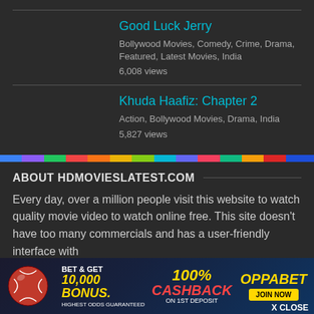Good Luck Jerry
Bollywood Movies, Comedy, Crime, Drama, Featured, Latest Movies, India
6,008 views
Khuda Haafiz: Chapter 2
Action, Bollywood Movies, Drama, India
5,827 views
ABOUT HDMOVIESLATEST.COM
Every day, over a million people visit this website to watch quality movie video to watch online free. This site doesn't have too many commercials and has a user-friendly interface with
[Figure (infographic): OppaBet advertisement banner: BET & GET 10,000 BONUS, 100% CASHBACK ON 1ST DEPOSIT, OPPABET logo, JOIN NOW button, HIGHEST ODDS GUARANTEED, X CLOSE]